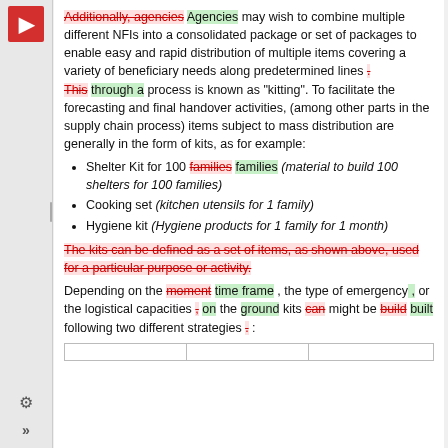Additionally, agencies [deleted] Agencies [inserted] may wish to combine multiple different NFIs into a consolidated package or set of packages to enable easy and rapid distribution of multiple items covering a variety of beneficiary needs along predetermined lines . This [deleted] through a [inserted] process is known as "kitting". To facilitate the forecasting and final handover activities, (among other parts in the supply chain process) items subject to mass distribution are generally in the form of kits, as for example:
Shelter Kit for 100 families [deleted] families [inserted] (material to build 100 shelters for 100 families)
Cooking set (kitchen utensils for 1 family)
Hygiene kit (Hygiene products for 1 family for 1 month)
The kits can be defined as a set of items, as shown above, used for a particular purpose or activity. [deleted block]
Depending on the moment [deleted] time frame [inserted] , the type of emergency , or the logistical capacities , [deleted] on [inserted] the ground kits can [deleted] might be build [deleted] built [inserted] following two different strategies . [deleted] :
|  |  |  |